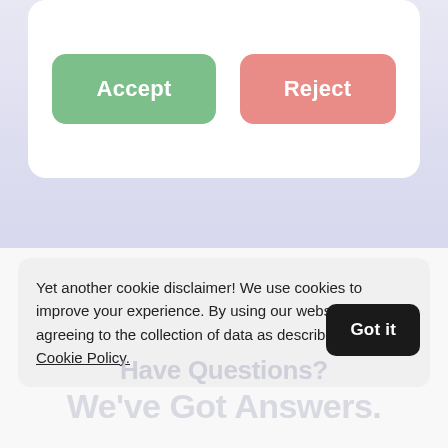[Figure (screenshot): UI card with green Accept button and red/pink Reject button on a light lavender/blue-grey background]
Yet another cookie disclaimer! We use cookies to improve your experience. By using our website, you're agreeing to the collection of data as described in our Cookie Policy.
Got it
Have Questions? We've Got Answers.